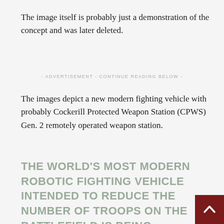The image itself is probably just a demonstration of the concept and was later deleted.
- ADVERTISEMENT - CONTINUE READING BELOW -
The images depict a new modern fighting vehicle with probably Cockerill Protected Weapon Station (CPWS) Gen. 2 remotely operated weapon station.
THE WORLD'S MOST MODERN ROBOTIC FIGHTING VEHICLE INTENDED TO REDUCE THE NUMBER OF TROOPS ON THE BATTLEFIELD IS BEING DEVELOPED BY #SWEDISH AND #ESTONIAN #ENGINEERS.HTTPS://T.CO/H73NK90WWR